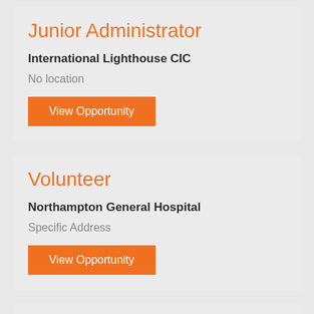Junior Administrator
International Lighthouse CIC
No location
View Opportunity
Volunteer
Northampton General Hospital
Specific Address
View Opportunity
Community welfare hub admin